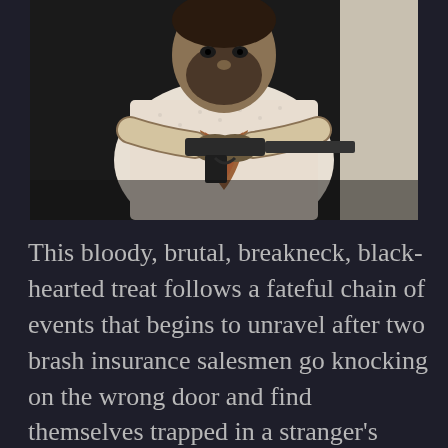[Figure (photo): A man in a white patterned shirt pointing a gun with a suppressor directly at the camera, against a dark background. He appears to be aiming aggressively toward the viewer.]
This bloody, brutal, breakneck, black-hearted treat follows a fateful chain of events that begins to unravel after two brash insurance salesmen go knocking on the wrong door and find themselves trapped in a stranger's basement, who is actually a cold-blooded serial killer.